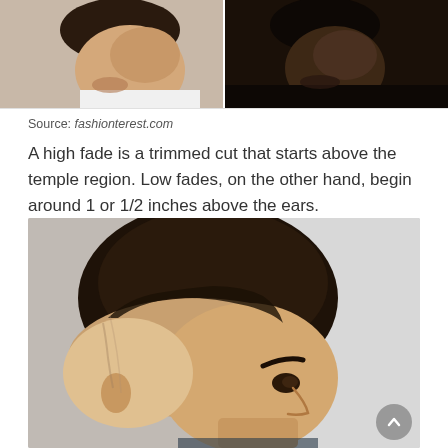[Figure (photo): Two side-by-side photos: left shows a man with a light skin tone and a fade haircut in profile view; right shows a man with a dark skin tone and a fade haircut with beard, also in profile view.]
Source: fashionterest.com
A high fade is a trimmed cut that starts above the temple region. Low fades, on the other hand, begin around 1 or 1/2 inches above the ears.
[Figure (photo): Close-up side profile photo of a man with a short buzz cut and a high fade haircut, showing the graduated fade from shaved sides to short hair on top. A scroll-to-top button is visible in the bottom right corner.]